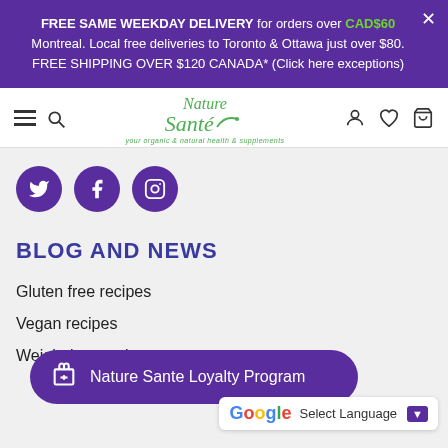FREE SAME WEEKDAY DELIVERY for orders over CAD$60 Montreal. Local free deliveries to Toronto & Ottawa just over $80. FREE SHIPPING OVER $120 CANADA* (Click here exceptions)
[Figure (logo): Nature Santé logo with green cursive text and tagline]
[Figure (illustration): Social media icons: Twitter, Facebook, Instagram in purple circles]
BLOG AND NEWS
Gluten free recipes
Vegan recipes
Weight loss recipes
[Figure (infographic): Nature Sante Loyalty Program button bar in purple]
Select Language